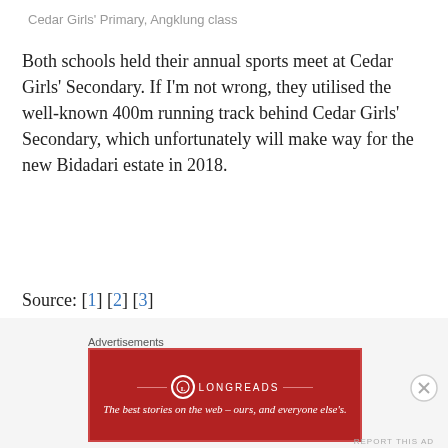Cedar Girls' Primary, Angklung class
Both schools held their annual sports meet at Cedar Girls' Secondary. If I'm not wrong, they utilised the well-known 400m running track behind Cedar Girls' Secondary, which unfortunately will make way for the new Bidadari estate in 2018.
Source: [1] [2] [3]
Rangoon Road Secondary School (Farrer Park)
Merged into Balestier Hill Secondary School in 2001
[Figure (other): Longreads advertisement banner: red background with Longreads logo and text 'The best stories on the web – ours, and everyone else's.']